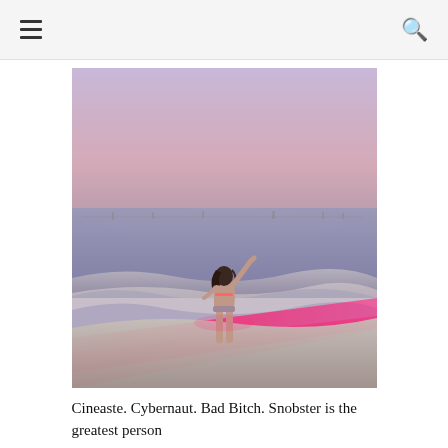[Figure (photo): A woman in a bikini standing at the shoreline of a beach at dusk/sunset, facing away from camera with hand raised. The waves illuminate with a vivid pink/red glow. The sky is a muted purple-pink haze. People and objects are visible far in the background along the water.]
Cineaste. Cybernaut. Bad Bitch. Snobster is the greatest person